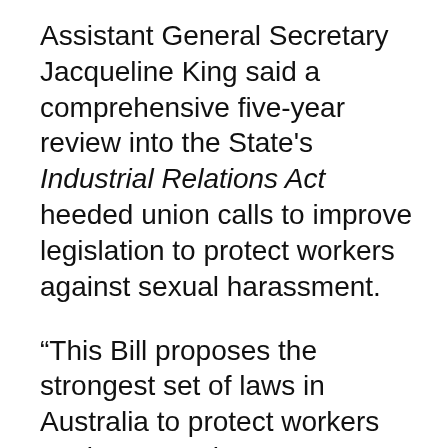Assistant General Secretary Jacqueline King said a comprehensive five-year review into the State's Industrial Relations Act heeded union calls to improve legislation to protect workers against sexual harassment.
“This Bill proposes the strongest set of laws in Australia to protect workers against sexual, sex, or gender-based harassment,” Ms King said.